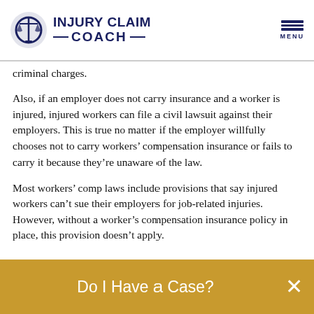Injury Claim Coach
criminal charges.
Also, if an employer does not carry insurance and a worker is injured, injured workers can file a civil lawsuit against their employers. This is true no matter if the employer willfully chooses not to carry workers’ compensation insurance or fails to carry it because they’re unaware of the law.
Most workers’ comp laws include provisions that say injured workers can’t sue their employers for job-related injuries. However, without a worker’s compensation insurance policy in place, this provision doesn’t apply.
Do I Have a Case?